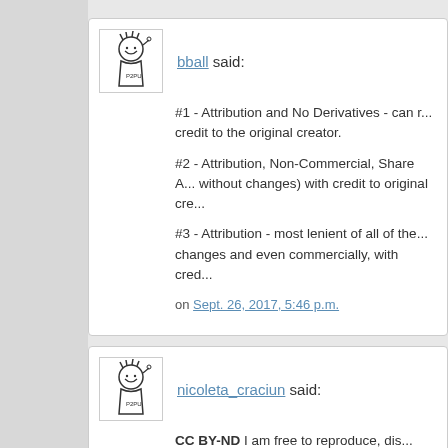bball said: #1 - Attribution and No Derivatives - can r... credit to the original creator. #2 - Attribution, Non-Commercial, Share A... without changes) with credit to original cre... #3 - Attribution - most lenient of all of the... changes and even commercially, with cred... on Sept. 26, 2017, 5:46 p.m.
nicoleta_craciun said: CC BY-ND  I am free to reproduce, dis...